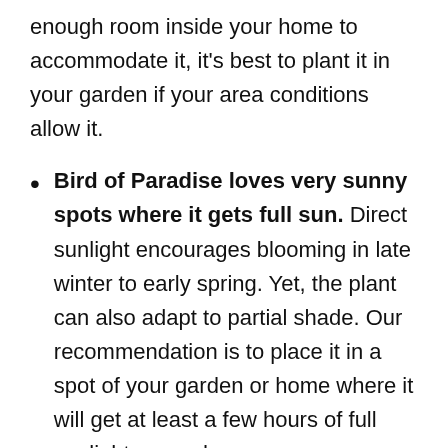enough room inside your home to accommodate it, it's best to plant it in your garden if your area conditions allow it.
Bird of Paradise loves very sunny spots where it gets full sun. Direct sunlight encourages blooming in late winter to early spring. Yet, the plant can also adapt to partial shade. Our recommendation is to place it in a spot of your garden or home where it will get at least a few hours of full sunlight every day.
Since it is a tropical South Africa-native flower, it's no surprise that Bird of Paradise prefers warm conditions. Average home conditions can be adequate as long as the